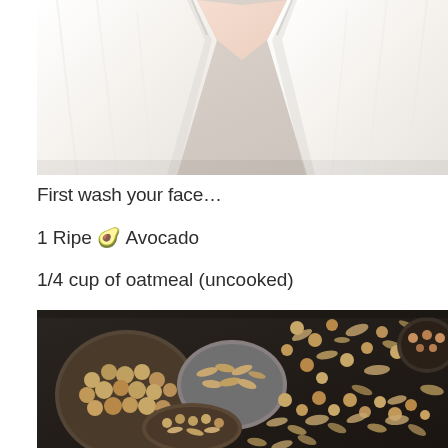[Figure (photo): Person wearing a white fluffy bathrobe, cropped to show the torso and neckline area against a light background]
First wash your face…
1 Ripe 🥑 Avocado
1/4 cup of oatmeal (uncooked)
[Figure (photo): Overhead/close-up photo of oatmeal, chickpeas/hazelnuts and grains scattered on a dark surface with measuring cups]